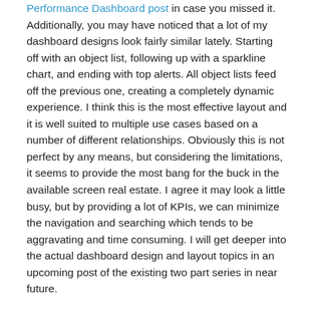Performance Dashboard post in case you missed it. Additionally, you may have noticed that a lot of my dashboard designs look fairly similar lately. Starting off with an object list, following up with a sparkline chart, and ending with top alerts. All object lists feed off the previous one, creating a completely dynamic experience. I think this is the most effective layout and it is well suited to multiple use cases based on a number of different relationships. Obviously this is not perfect by any means, but considering the limitations, it seems to provide the most bang for the buck in the available screen real estate. I agree it may look a little busy, but by providing a lot of KPIs, we can minimize the navigation and searching which tends to be aggravating and time consuming. I will get deeper into the actual dashboard design and layout topics in an upcoming post of the existing two part series in near future.
In conclusion, the multi-vCenter dashboard provides a more convenient way of keeping an eye on your management infrastructure. Stay tuned for more VMware